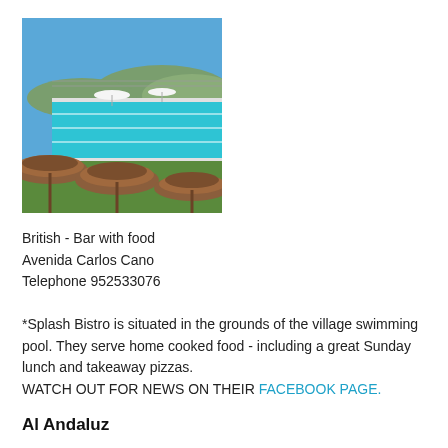[Figure (photo): Outdoor swimming pool with bright blue water, thatched grass umbrellas in the foreground, white parasols in the middle ground, green grass surrounds, and hills under a clear blue sky in the background.]
British - Bar with food
Avenida Carlos Cano
Telephone 952533076
*Splash Bistro is situated in the grounds of the village swimming pool. They serve home cooked food - including a great Sunday lunch and takeaway pizzas.
WATCH OUT FOR NEWS ON THEIR FACEBOOK PAGE.
Al Andaluz